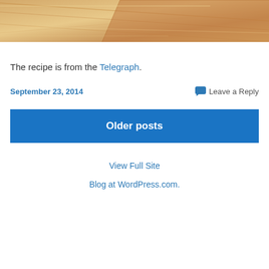[Figure (photo): Close-up photo of a wooden cutting board surface showing wood grain texture in warm tan and brown tones]
The recipe is from the Telegraph.
September 23, 2014
Leave a Reply
Older posts
View Full Site
Blog at WordPress.com.